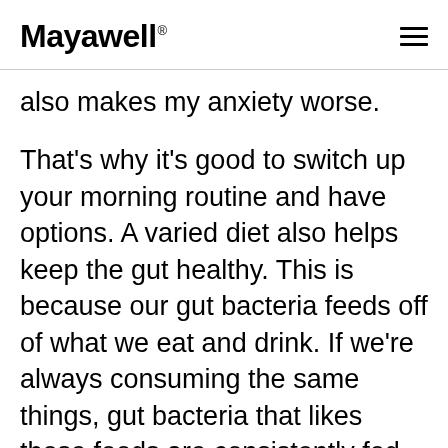Mayawell.
also makes my anxiety worse.
That's why it's good to switch up your morning routine and have options. A varied diet also helps keep the gut healthy. This is because our gut bacteria feeds off of what we eat and drink. If we're always consuming the same things, gut bacteria that likes those foods are consistently fed while other bacteria are starved. A varied diet ensures all bacteria are receiving